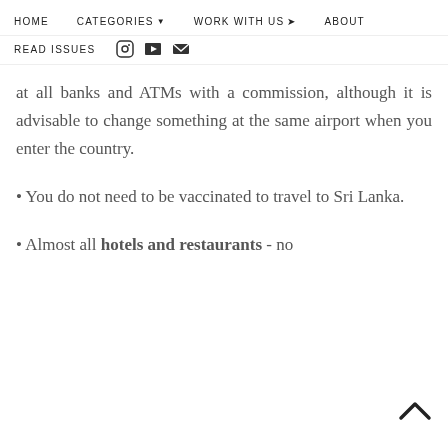HOME   CATEGORIES   WORK WITH US   ABOUT
READ ISSUES
at all banks and ATMs with a commission, although it is advisable to change something at the same airport when you enter the country.
• You do not need to be vaccinated to travel to Sri Lanka.
• Almost all hotels and restaurants - no